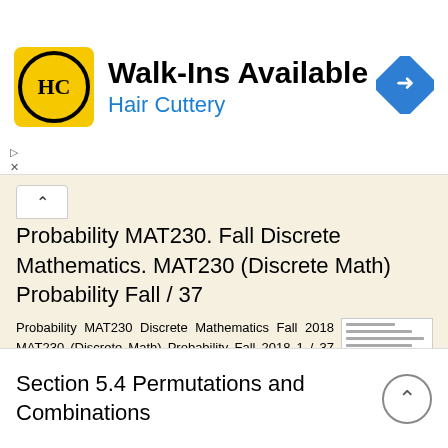[Figure (logo): Hair Cuttery advertisement banner with HC logo in yellow square, 'Walk-Ins Available' heading, 'Hair Cuttery' subtitle in blue, and blue diamond navigation arrow icon]
Probability MAT230. Fall Discrete Mathematics. MAT230 (Discrete Math) Probability Fall / 37
Probability MAT230 Discrete Mathematics Fall 2018 MAT230 (Discrete Math) Probability Fall 2018 1 / 37 Outline 1 Discrete Probability 2 Sum and Product Rules for Probability 3 Expected Value MAT230 (Discrete
More information →
Section 5.4 Permutations and Combinations